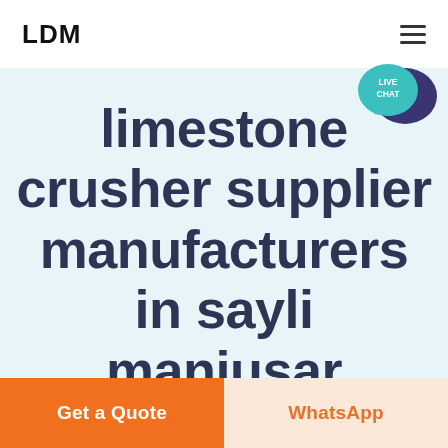LDM
[Figure (illustration): Live Chat speech bubble icon in teal/purple colors with text LIVE CHAT]
limestone crusher supplier manufacturers in sayli manjusar
Get a Quote
WhatsApp